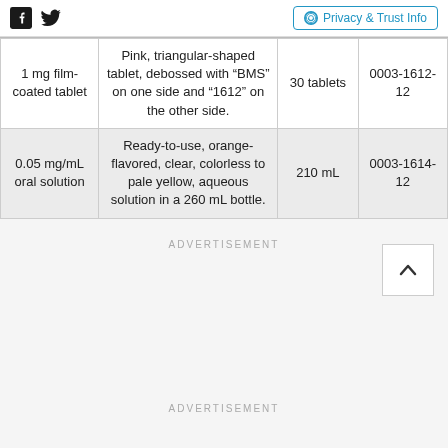Facebook icon | Twitter icon | Privacy & Trust Info
| 1 mg film-coated tablet | Pink, triangular-shaped tablet, debossed with “BMS” on one side and “1612” on the other side. | 30 tablets | 0003-1612-12 |
| 0.05 mg/mL oral solution | Ready-to-use, orange-flavored, clear, colorless to pale yellow, aqueous solution in a 260 mL bottle. | 210 mL | 0003-1614-12 |
ADVERTISEMENT
ADVERTISEMENT